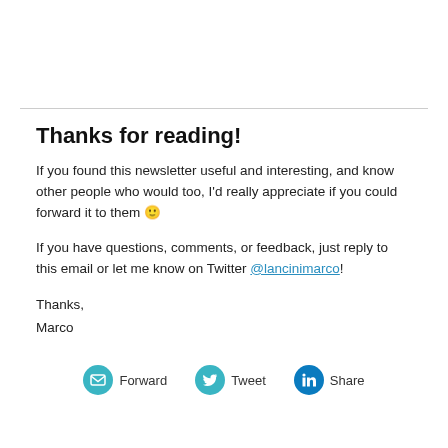Thanks for reading!
If you found this newsletter useful and interesting, and know other people who would too, I'd really appreciate if you could forward it to them 🙂
If you have questions, comments, or feedback, just reply to this email or let me know on Twitter @lancinimarco!
Thanks,
Marco
Forward   Tweet   Share